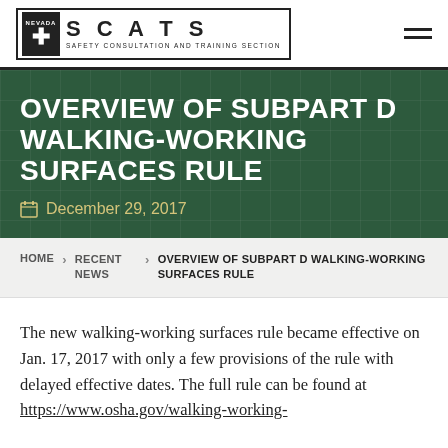[Figure (logo): SCATS Safety Consultation and Training Section logo with cross symbol and site name]
OVERVIEW OF SUBPART D WALKING-WORKING SURFACES RULE
December 29, 2017
HOME > RECENT NEWS > OVERVIEW OF SUBPART D WALKING-WORKING SURFACES RULE
The new walking-working surfaces rule became effective on Jan. 17, 2017 with only a few provisions of the rule with delayed effective dates. The full rule can be found at https://www.osha.gov/walking-working-